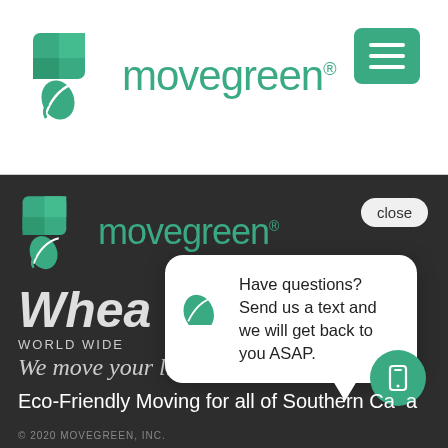[Figure (logo): Movegreen logo with green box and leaf icon, and 'movegreen' text in green, in white header bar]
[Figure (other): Green hamburger menu button (three horizontal white lines on green rounded square background)]
[Figure (screenshot): Dark background section showing Movegreen logo, Wheaton World Wide moving logo, close button, chat popup bubble, and eco-friendly text]
Have questions? Send us a text and we will get back to you ASAP.
Eco-Friendly Moving for all of Southern Ca a
© 2020 MOVEGREEN, INC.